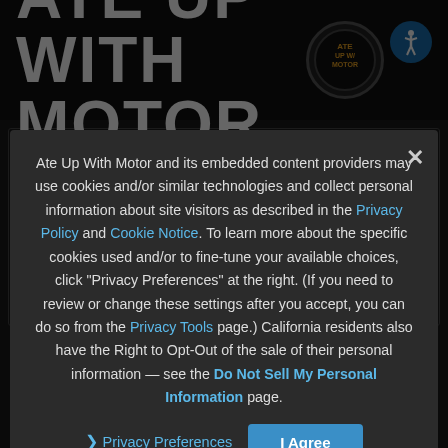ATE UP WITH MOTOR
The MacPherson Strut
Aaron ... Tech...
Although frequently misunderstood and often misspelled MacPherson struts have been a revolution in suspension systems... Proton S... turbo. In this newly revised and updated installment of Ate Up With Motor, we'll take a look at the origins and workings of the MacPherson strut, its competing variations like the Toyota Super Strut, GM HiPer Strut, and Ford RevoKnuckle.
Ate Up With Motor and its embedded content providers may use cookies and/or similar technologies and collect personal information about site visitors as described in the Privacy Policy and Cookie Notice. To learn more about the specific cookies used and/or to fine-tune your available choices, click "Privacy Preferences" at the right. (If you need to review or change these settings after you accept, you can do so from the Privacy Tools page.) California residents also have the Right to Opt-Out of the sale of their personal information — see the Do Not Sell My Personal Information page.
Privacy Preferences
I Agree